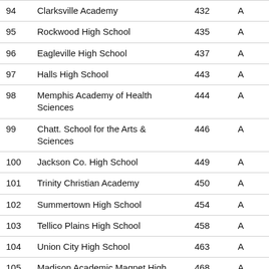| # | School | Score | Grade |
| --- | --- | --- | --- |
| 94 | Clarksville Academy | 432 | A |
| 95 | Rockwood High School | 435 | A |
| 96 | Eagleville High School | 437 | A |
| 97 | Halls High School | 443 | A |
| 98 | Memphis Academy of Health Sciences | 444 | A |
| 99 | Chatt. School for the Arts & Sciences | 446 | A |
| 100 | Jackson Co. High School | 449 | A |
| 101 | Trinity Christian Academy | 450 | A |
| 102 | Summertown High School | 454 | A |
| 103 | Tellico Plains High School | 458 | A |
| 104 | Union City High School | 463 | A |
| 105 | Madison Academic Magnet High School | 468 | A |
| 106 | Manassas High School | 476 | A |